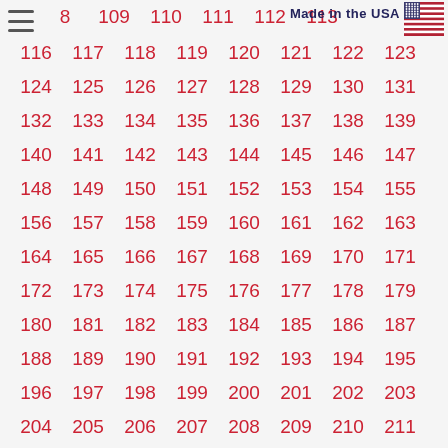[Figure (logo): Hamburger menu icon (three horizontal lines)]
8  109  110  111  112  113
Made in the USA
[Figure (illustration): US flag icon]
116  117  118  119  120  121  122  123
124  125  126  127  128  129  130  131
132  133  134  135  136  137  138  139
140  141  142  143  144  145  146  147
148  149  150  151  152  153  154  155
156  157  158  159  160  161  162  163
164  165  166  167  168  169  170  171
172  173  174  175  176  177  178  179
180  181  182  183  184  185  186  187
188  189  190  191  192  193  194  195
196  197  198  199  200  201  202  203
204  205  206  207  208  209  210  211